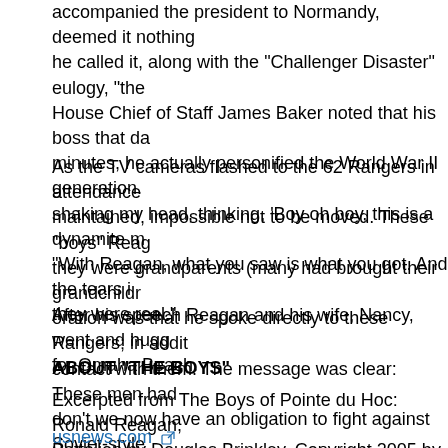accompanied the president to Normandy, deemed it nothing he called it, along with the "Challenger Disaster" eulogy, "the House Chief of Staff James Baker noted that his boss that da minutes, he actually personified the World War II generation. shaking my head, thinking, 'Boy oh boy, this is a dynamite m "With Reagan, what you saw is what you got. And the tears i they were real."
As the TV cameras flashed to the 62 Rangers in attendance maintained, impossible not to be moved. These "boys" Reag they were grandparents (many had brought their grandchildr oration was that he spoke directly to these Rangers; in addit contact with them. The message was clear: These men had don't we now have an obligation to fight against Soviet-style
After his speech Reagan and his wife, Nancy, went and hugg for Omaha Beach.
ABOUT "THE BOYS"
Excerpted from The Boys of Pointe du Hoc: Ronald Reagan, Battalion by Douglas Brinkley. Copyright 2005 by Douglas B Publishers Inc. All rights reserved.
usnews.com